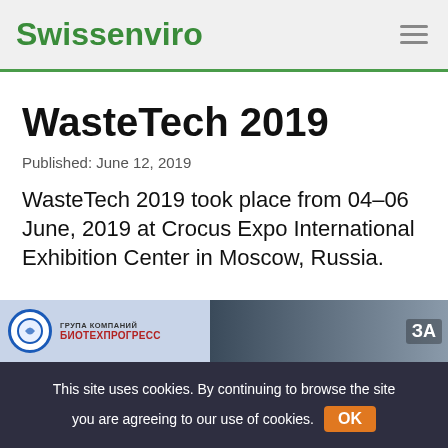Swissenviro
WasteTech 2019
Published: June 12, 2019
WasteTech 2019 took place from 04–06 June, 2019 at Crocus Expo International Exhibition Center in Moscow, Russia.
[Figure (photo): Exhibition floor photo showing БИОТЕХПРОГРЕСС company booth at WasteTech 2019.]
This site uses cookies. By continuing to browse the site you are agreeing to our use of cookies. OK